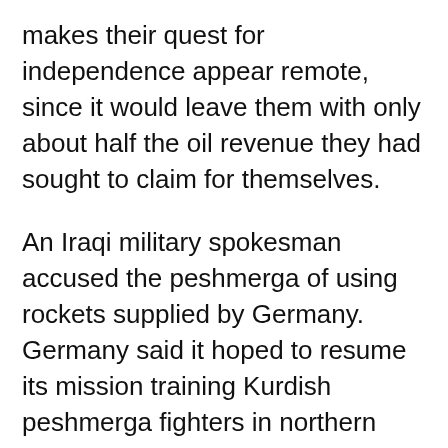makes their quest for independence appear remote, since it would leave them with only about half the oil revenue they had sought to claim for themselves.
An Iraqi military spokesman accused the peshmerga of using rockets supplied by Germany. Germany said it hoped to resume its mission training Kurdish peshmerga fighters in northern Iraq on Sunday, provided the conflict did not worsen. Berlin suspended it a week ago as tensions mounted.